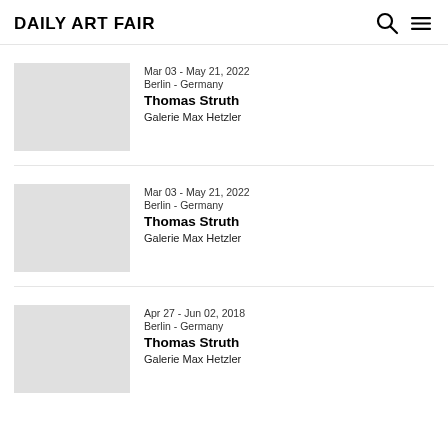Daily Art Fair
Mar 03 - May 21, 2022
Berlin - Germany
Thomas Struth
Galerie Max Hetzler
Mar 03 - May 21, 2022
Berlin - Germany
Thomas Struth
Galerie Max Hetzler
Apr 27 - Jun 02, 2018
Berlin - Germany
Thomas Struth
Galerie Max Hetzler